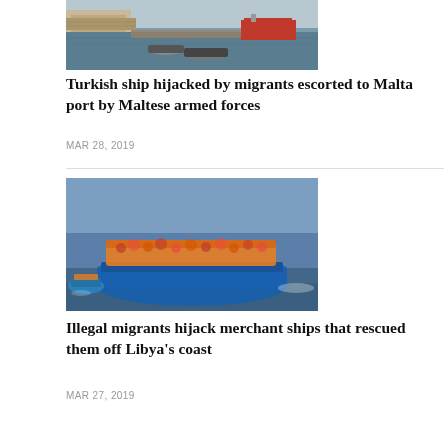[Figure (photo): Aerial view of a Malta harbor with fortress walls, boats docked, and a red ship visible on the water.]
Turkish ship hijacked by migrants escorted to Malta port by Maltese armed forces
MAR 28, 2019
[Figure (photo): Overcrowded blue boat at sea packed with migrants wearing orange life jackets, off Libya's coast.]
Illegal migrants hijack merchant ships that rescued them off Libya's coast
MAR 27, 2019